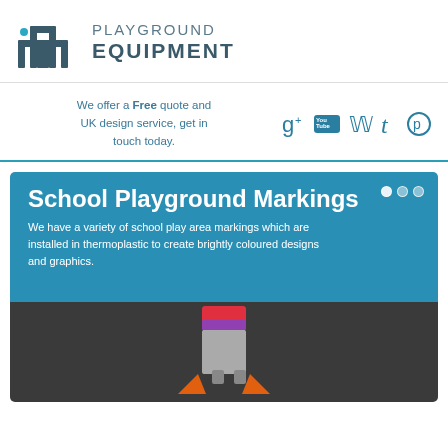[Figure (logo): Playground Equipment logo with arch mark icon and company name]
We offer a Free quote and UK design service, get in touch today.
[Figure (infographic): Social media icons: Google+, YouTube, Twitter, Tumblr, Pinterest]
[Figure (infographic): School Playground Markings banner with teal background, title, description text, navigation dots, and photo of a rocket playground marking on dark tarmac]